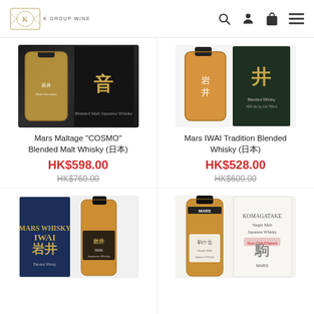K GROUP WINE
[Figure (photo): Mars Maltage COSMO Blended Malt Whisky product image - bottle and black box]
Mars Maltage "COSMO" Blended Malt Whisky (日本)
HK$598.00
HK$760.00
[Figure (photo): Mars IWAI Tradition Blended Whisky product image - bottle and dark green box]
Mars IWAI Tradition Blended Whisky (日本)
HK$528.00
HK$600.00
[Figure (photo): Mars IWAI Whisky product image - bottle and navy blue box]
[Figure (photo): Mars Komagatake Single Malt Japanese Whisky Non-Chill Filtered product image - bottle and white box]